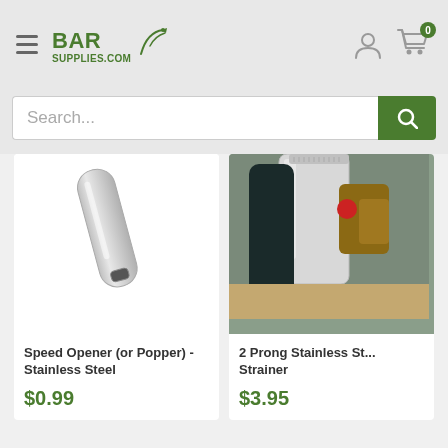[Figure (logo): BarSupplies.com logo with green text and fishing/bar icon]
[Figure (screenshot): Website header with hamburger menu, BarSupplies.com logo, user icon, and cart icon showing 0 items]
Search...
[Figure (photo): Speed Opener (or Popper) - Stainless Steel bottle opener product image]
Speed Opener (or Popper) - Stainless Steel
$0.99
[Figure (photo): 2 Prong Stainless Steel Strainer product image (partially cropped)]
2 Prong Stainless St... Strainer
$3.95